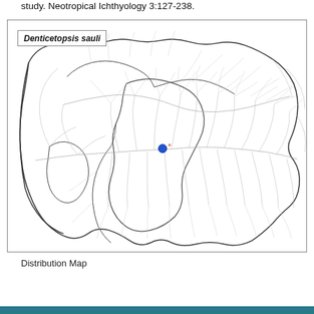study. Neotropical Ichthyology 3:127-238.
[Figure (map): Distribution map of Denticetopsis sauli showing a single blue dot location in the Amazon basin region of South America, with river network lines and country/region boundaries drawn in black on white background. A label box in the upper left reads 'Denticetopsis sauli' in bold italic.]
Distribution Map